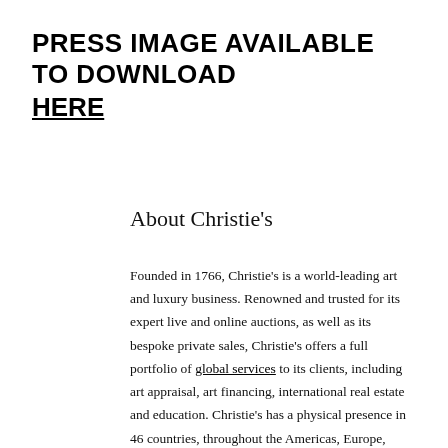PRESS IMAGE AVAILABLE TO DOWNLOAD HERE
About Christie's
Founded in 1766, Christie's is a world-leading art and luxury business. Renowned and trusted for its expert live and online auctions, as well as its bespoke private sales, Christie's offers a full portfolio of global services to its clients, including art appraisal, art financing, international real estate and education. Christie's has a physical presence in 46 countries, throughout the Americas, Europe, Middle East, and Asia Pacific, with flagship international sales hubs in New York, London, Hong Kong, Paris and Geneva. It also is the only international auction house authorized to hold sales in